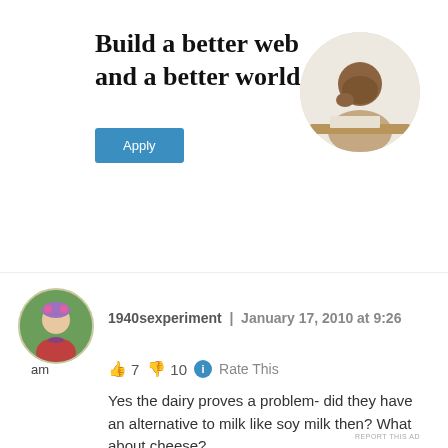[Figure (illustration): Advertisement banner with text 'Build a better web and a better world.' and an Apply button, alongside a circular photo of a man thinking at a desk]
REPORT THIS AD
1940sexperiment | January 17, 2010 at 9:26 am
👍 7 👎 10 ℹ Rate This
Yes the dairy proves a problem- did they have an alternative to milk like soy milk then? What about cheese?